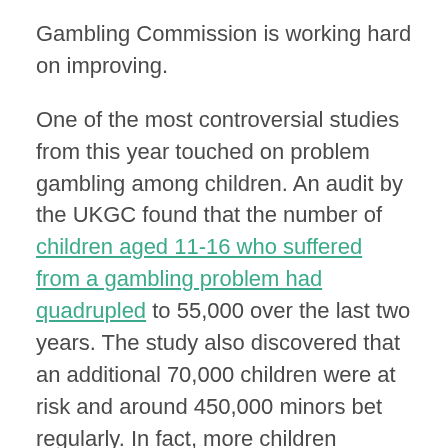Gambling Commission is working hard on improving.
One of the most controversial studies from this year touched on problem gambling among children. An audit by the UKGC found that the number of children aged 11-16 who suffered from a gambling problem had quadrupled to 55,000 over the last two years. The study also discovered that an additional 70,000 children were at risk and around 450,000 minors bet regularly. In fact, more children admitted to gambling than smoking or drinking alcohol.